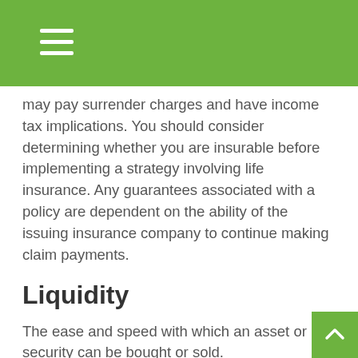may pay surrender charges and have income tax implications. You should consider determining whether you are insurable before implementing a strategy involving life insurance. Any guarantees associated with a policy are dependent on the ability of the issuing insurance company to continue making claim payments.
Liquidity
The ease and speed with which an asset or security can be bought or sold.
Living Trust
A trust created by a living person which allows that person to control the assets he or she contributes to